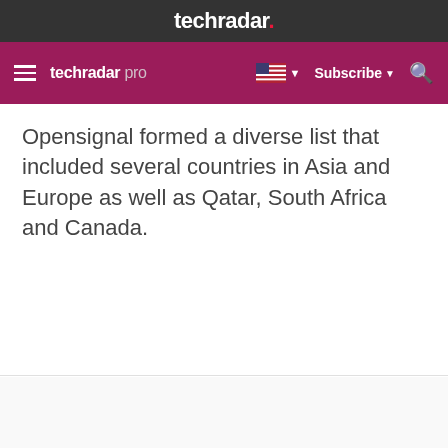techradar.
techradar pro  Subscribe
Opensignal formed a diverse list that included several countries in Asia and Europe as well as Qatar, South Africa and Canada.